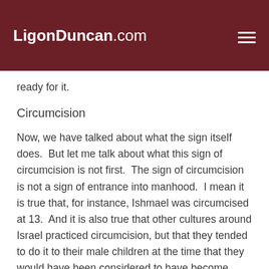LigonDuncan.com
ready for it.
Circumcision
Now, we have talked about what the sign itself does.  But let me talk about what this sign of circumcision is not first.  The sign of circumcision is not a sign of entrance into manhood.  I mean it is true that, for instance, Ishmael was circumcised at 13.  And it is also true that other cultures around Israel practiced circumcision, but that they tended to do it to their male children at the time that they would have been considered to have become men.  But the covenant sign of circumcision instituted here in Genesis 17 is to be applied to those who are eight days old.  So it is very clear that this sign, though it may be